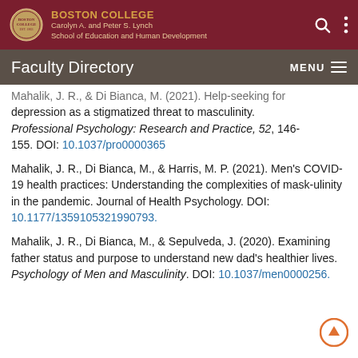BOSTON COLLEGE Carolyn A. and Peter S. Lynch School of Education and Human Development
Faculty Directory
Mahalik, J. R., & Di Bianca, M. (2021). Help-seeking for depression as a stigmatized threat to masculinity. Professional Psychology: Research and Practice, 52, 146-155. DOI: 10.1037/pro0000365
Mahalik, J. R., Di Bianca, M., & Harris, M. P. (2021). Men's COVID-19 health practices: Understanding the complexities of mask-ulinity in the pandemic. Journal of Health Psychology. DOI: 10.1177/1359105321990793.
Mahalik, J. R., Di Bianca, M., & Sepulveda, J. (2020). Examining father status and purpose to understand new dad's healthier lives. Psychology of Men and Masculinity. DOI: 10.1037/men0000256.